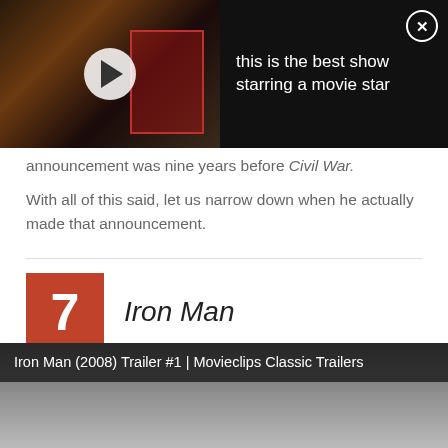[Figure (screenshot): Video player thumbnail showing a dark scene with a play button overlay, and text overlay reading 'this is the best show starring a movie star' with a close X button]
announcement was nine years before Civil War.
With all of this said, let us narrow down when he actually made that announcement.
7 Iron Man
[Figure (screenshot): Iron Man (2008) Trailer #1 | Movieclips Classic Trailers video thumbnail]